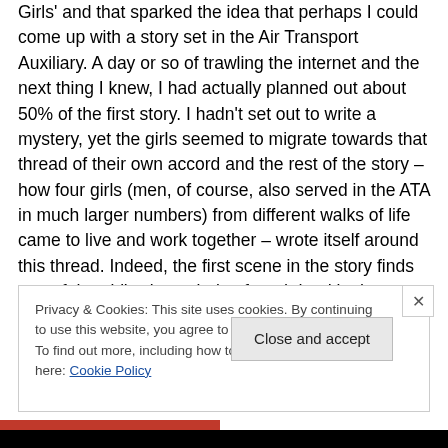Girls' and that sparked the idea that perhaps I could come up with a story set in the Air Transport Auxiliary. A day or so of trawling the internet and the next thing I knew, I had actually planned out about 50% of the first story. I hadn't set out to write a mystery, yet the girls seemed to migrate towards that thread of their own accord and the rest of the story – how four girls (men, of course, also served in the ATA in much larger numbers) from different walks of life came to live and work together – wrote itself around this thread. Indeed, the first scene in the story finds one of the girl's sisters being found dead in the cockpit of a Tiger
Privacy & Cookies: This site uses cookies. By continuing to use this website, you agree to their use.
To find out more, including how to control cookies, see here: Cookie Policy
Close and accept